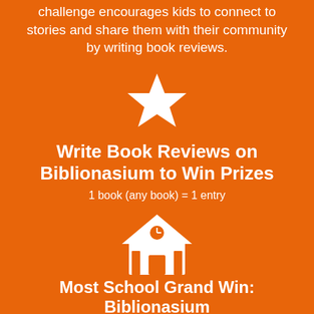challenge encourages kids to connect to stories and share them with their community by writing book reviews.
[Figure (illustration): White star icon on orange background]
Write Book Reviews on Biblionasium to Win Prizes
1 book (any book) = 1 entry
[Figure (illustration): White school building icon with clock on orange background]
Most School Grand Win: Biblionasium